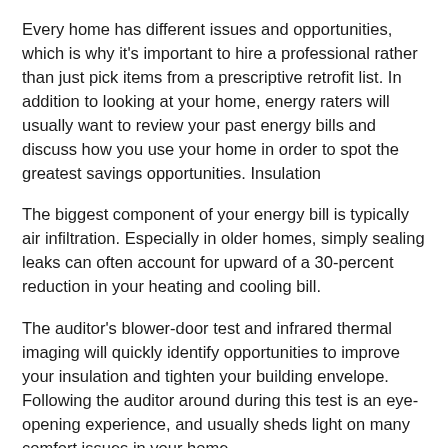Every home has different issues and opportunities, which is why it's important to hire a professional rather than just pick items from a prescriptive retrofit list. In addition to looking at your home, energy raters will usually want to review your past energy bills and discuss how you use your home in order to spot the greatest savings opportunities. Insulation
The biggest component of your energy bill is typically air infiltration. Especially in older homes, simply sealing leaks can often account for upward of a 30-percent reduction in your heating and cooling bill.
The auditor’s blower-door test and infrared thermal imaging will quickly identify opportunities to improve your insulation and tighten your building envelope. Following the auditor around during this test is an eye-opening experience, and usually sheds light on many comfort issues in your home.
Spend the most effort at the top (attic) and the bottom (crawl space)